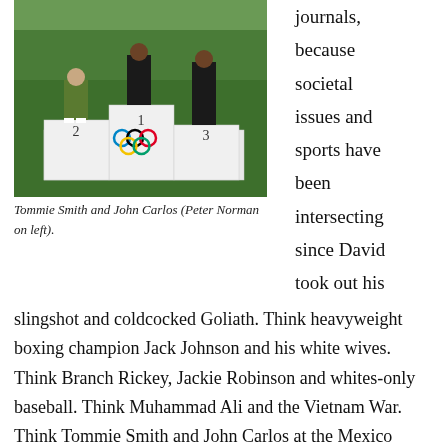[Figure (photo): Three athletes on an Olympic medal podium (positions 1, 2, 3) with Olympic rings visible. Identified as Tommie Smith and John Carlos with Peter Norman on left.]
Tommie Smith and John Carlos (Peter Norman on left).
journals, because societal issues and sports have been intersecting since David took out his slingshot and coldcocked Goliath. Think heavyweight boxing champion Jack Johnson and his white wives. Think Branch Rickey, Jackie Robinson and whites-only baseball. Think Muhammad Ali and the Vietnam War. Think Tommie Smith and John Carlos at the Mexico Olympics. Think Colin Kaepernick on one knee. Think Billie Jean King being outed as a lesbian. Think racist team names,